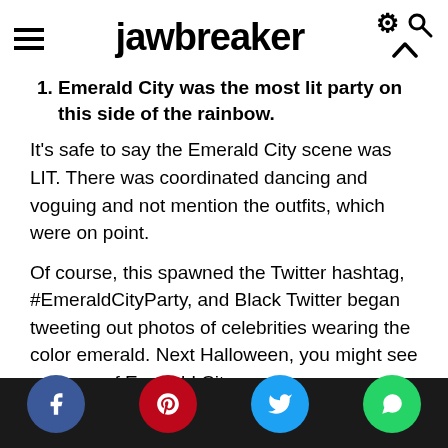jawbreaker
Emerald City was the most lit party on this side of the rainbow.
It's safe to say the Emerald City scene was LIT. There was coordinated dancing and voguing and not mention the outfits, which were on point.
Of course, this spawned the Twitter hashtag, #EmeraldCityParty, and Black Twitter began tweeting out photos of celebrities wearing the color emerald. Next Halloween, you might see a theme of Emerald City costumes.
Social share buttons: Facebook, Pinterest, Twitter, WhatsApp